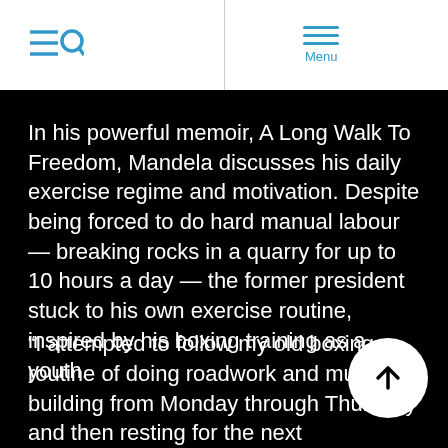[Search icon] | Menu
In his powerful memoir, A Long Walk To Freedom, Mandela discusses his daily exercise regime and motivation. Despite being forced to do hard manual labour — breaking rocks in a quarry for up to 10 hours a day — the former president stuck to his own exercise routine, inspired by his boxing training as a youth.
“I attempted to follow my old boxing routine of doing roadwork and muscle-building from Monday through Thursday and then resting for the next